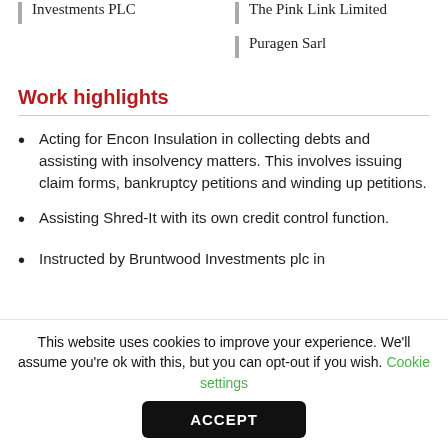Investments PLC
The Pink Link Limited
Puragen Sarl
Work highlights
Acting for Encon Insulation in collecting debts and assisting with insolvency matters. This involves issuing claim forms, bankruptcy petitions and winding up petitions.
Assisting Shred-It with its own credit control function.
Instructed by Bruntwood Investments plc in
This website uses cookies to improve your experience. We'll assume you're ok with this, but you can opt-out if you wish. Cookie settings
ACCEPT